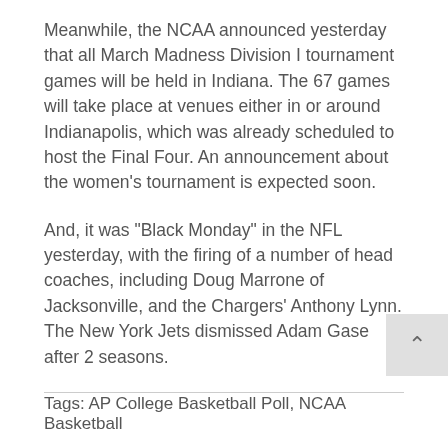Meanwhile, the NCAA announced yesterday that all March Madness Division I tournament games will be held in Indiana. The 67 games will take place at venues either in or around Indianapolis, which was already scheduled to host the Final Four. An announcement about the women’s tournament is expected soon.
And, it was “Black Monday” in the NFL yesterday, with the firing of a number of head coaches, including Doug Marrone of Jacksonville, and the Chargers’ Anthony Lynn. The New York Jets dismissed Adam Gase after 2 seasons.
Tags: AP College Basketball Poll, NCAA Basketball